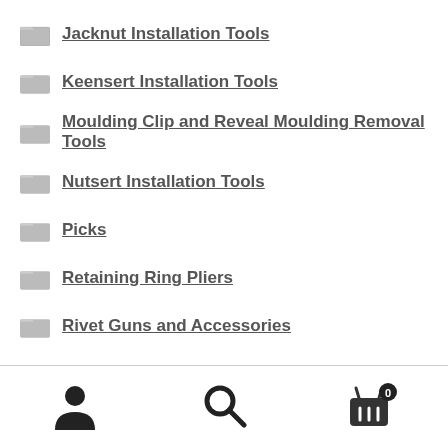Jacknut Installation Tools
Keensert Installation Tools
Moulding Clip and Reveal Moulding Removal Tools
Nutsert Installation Tools
Picks
Retaining Ring Pliers
Rivet Guns and Accessories
Sanding Pens
Specialty Pliers
Windshield and Glass Tools
Wiper Arm Removal Tools
[Figure (infographic): Bottom navigation bar with user account icon, search icon, and shopping cart icon with badge showing 0]